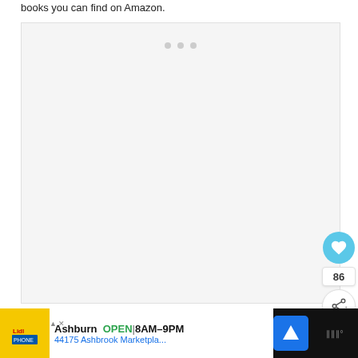books you can find on Amazon.
[Figure (screenshot): Embedded content box with loading dots, light gray background]
[Figure (other): Heart/like button (blue circle with heart icon), count 86, share button]
[Figure (other): Advertisement banner: Lidl Ashburn OPEN 8AM-9PM, 44175 Ashbrook Marketpla..., navigation icon, dark background with weather widget]